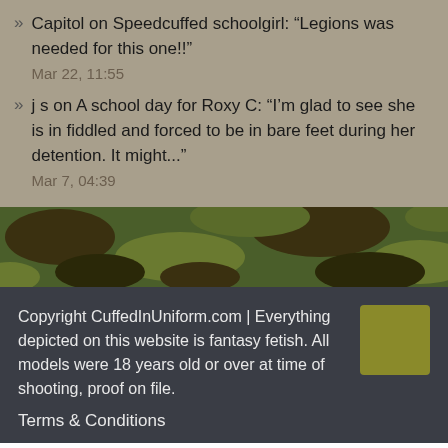Capitol on Speedcuffed schoolgirl: “Legions was needed for this one!!” Mar 22, 11:55
j s on A school day for Roxy C: “I’m glad to see she is in fiddled and forced to be in bare feet during her detention. It might...” Mar 7, 04:39
[Figure (photo): Camouflage pattern image strip]
Copyright CuffedInUniform.com | Everything depicted on this website is fantasy fetish. All models were 18 years old or over at time of shooting, proof on file.
Terms & Conditions